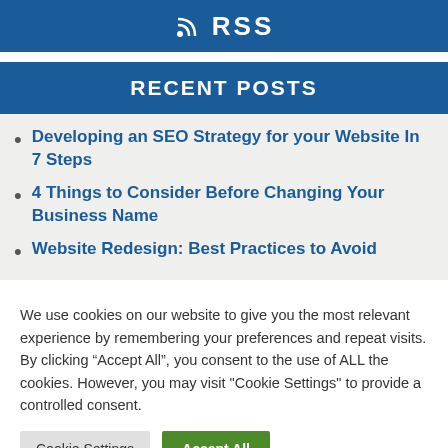RSS
RECENT POSTS
Developing an SEO Strategy for your Website In 7 Steps
4 Things to Consider Before Changing Your Business Name
Website Redesign: Best Practices to Avoid
We use cookies on our website to give you the most relevant experience by remembering your preferences and repeat visits. By clicking “Accept All”, you consent to the use of ALL the cookies. However, you may visit "Cookie Settings" to provide a controlled consent.